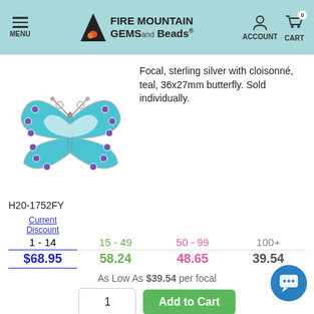Fire Mountain Gems and Beads — MENU | ACCOUNT | CART 0
[Figure (photo): Teal cloisonné butterfly focal pendant with purple accents on sterling silver, 36x27mm]
Focal, sterling silver with cloisonné, teal, 36x27mm butterfly. Sold individually.
H20-1752FY
| Current Discount | 15 - 49 | 50 - 99 | 100+ |
| --- | --- | --- | --- |
| 1 - 14 | 15 - 49 | 50 - 99 | 100+ |
| $68.95 | 58.24 | 48.65 | 39.54 |
As Low As $39.54 per focal
LIMITED QUANTITY
IN STOCK - Only 16 Available
Focal, smoky quartz (heated / irradiated) / white topaz (natural) / sterling silver,